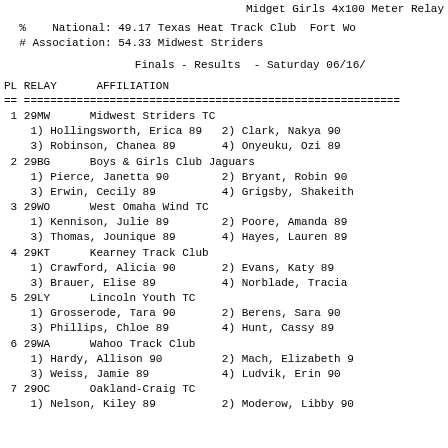Midget Girls 4x100 Meter Relay
% National: 49.17 Texas Heat Track Club Fort Wo
# Association: 54.33 Midwest Striders
Finals - Results - Saturday 06/16/
| PL | RELAY | AFFILIATION |
| --- | --- | --- |
| 1 | 29MW | Midwest Striders TC |
|  |  | 1) Hollingsworth, Erica 89   2) Clark, Nakya 90 |
|  |  | 3) Robinson, Chanea 89       4) Onyeuku, Ozi 89 |
| 2 | 29BG | Boys & Girls Club Jaguars |
|  |  | 1) Pierce, Janetta 90        2) Bryant, Robin 90 |
|  |  | 3) Erwin, Cecily 89          4) Grigsby, Shakeith |
| 3 | 29WO | West Omaha Wind TC |
|  |  | 1) Kennison, Julie 89        2) Poore, Amanda 89 |
|  |  | 3) Thomas, Jounique 89       4) Hayes, Lauren 89 |
| 4 | 29KT | Kearney Track Club |
|  |  | 1) Crawford, Alicia 90       2) Evans, Katy 89 |
|  |  | 3) Brauer, Elise 89          4) Norblade, Tracia |
| 5 | 29LY | Lincoln Youth TC |
|  |  | 1) Grosserode, Tara 90       2) Berens, Sara 90 |
|  |  | 3) Phillips, Chloe 89        4) Hunt, Cassy 89 |
| 6 | 29WA | Wahoo Track Club |
|  |  | 1) Hardy, Allison 90         2) Mach, Elizabeth 9 |
|  |  | 3) Weiss, Jamie 89           4) Ludvik, Erin 90 |
| 7 | 29OC | Oakland-Craig TC |
|  |  | 1) Nelson, Kiley 89          2) Moderow, Libby 90 |